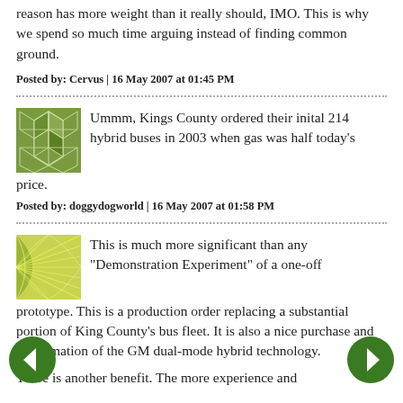reason has more weight than it really should, IMO. This is why we spend so much time arguing instead of finding common ground.
Posted by: Cervus | 16 May 2007 at 01:45 PM
Ummm, Kings County ordered their inital 214 hybrid buses in 2003 when gas was half today's price.
Posted by: doggydogworld | 16 May 2007 at 01:58 PM
This is much more significant than any "Demonstration Experiment" of a one-off prototype. This is a production order replacing a substantial portion of King County's bus fleet. It is also a nice purchase and confirmation of the GM dual-mode hybrid technology.
There is another benefit. The more experience and